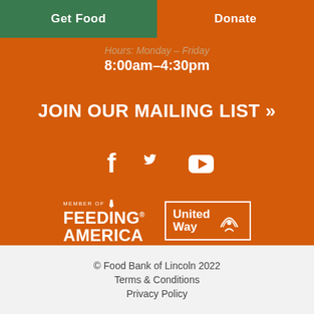Get Food   Donate
Hours: Monday–Friday
8:00am–4:30pm
JOIN OUR MAILING LIST »
[Figure (infographic): Social media icons: Facebook, Twitter, YouTube in white on orange background]
[Figure (logo): Member of Feeding America logo and United Way logo on orange background]
© Food Bank of Lincoln 2022
Terms & Conditions
Privacy Policy